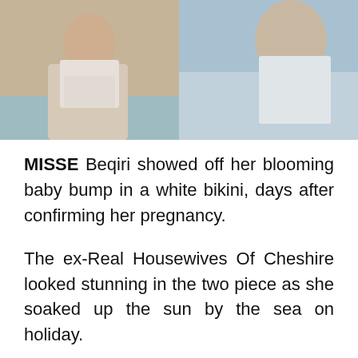[Figure (photo): Two side-by-side photos of Misse Beqiri. Left photo shows a woman in a white tied shirt on a boat/pool setting. Right photo shows a woman in a white bikini by the sea.]
MISSE Beqiri showed off her blooming baby bump in a white bikini, days after confirming her pregnancy.
The ex-Real Housewives Of Cheshire looked stunning in the two piece as she soaked up the sun by the sea on holiday.